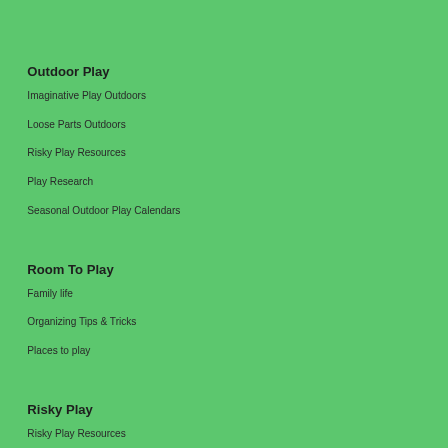Outdoor Play
Imaginative Play Outdoors
Loose Parts Outdoors
Risky Play Resources
Play Research
Seasonal Outdoor Play Calendars
Room To Play
Family life
Organizing Tips & Tricks
Places to play
Risky Play
Risky Play Resources